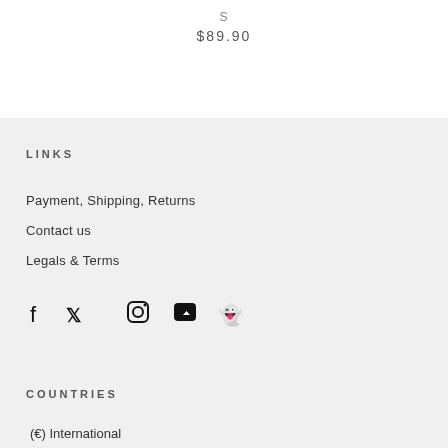S
$89.90
LINKS
Payment, Shipping, Returns
Contact us
Legals & Terms
[Figure (illustration): Social media icons: Facebook, Twitter, Instagram, YouTube, Snapchat]
COUNTRIES
(€) International